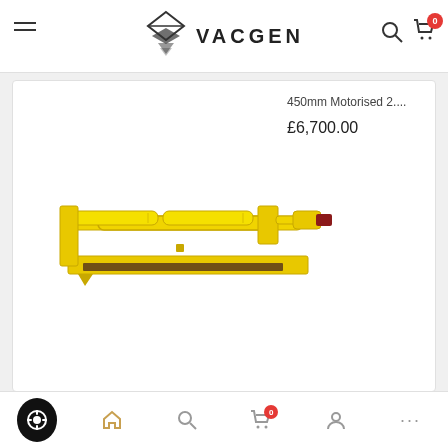VACGEN
[Figure (illustration): Yellow CAD rendering of a 450mm motorised linear feedthrough/manipulator device, shown in horizontal orientation with cylindrical body, mounting flanges, and actuator mechanism.]
450mm Motorised 2....
£6,700.00
450mm Motorised/...
£6,107.62
Home Search Cart Account More